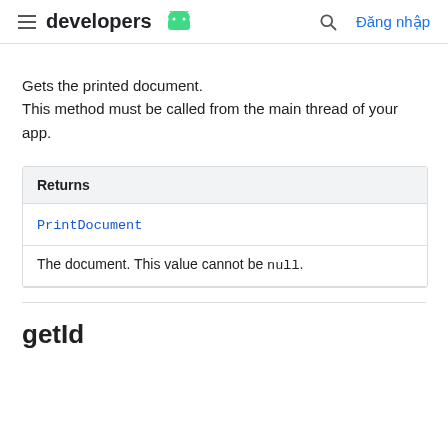developers | Đăng nhập
Gets the printed document. This method must be called from the main thread of your app.
| Returns |
| --- |
| PrintDocument |
| The document. This value cannot be null. |
getId